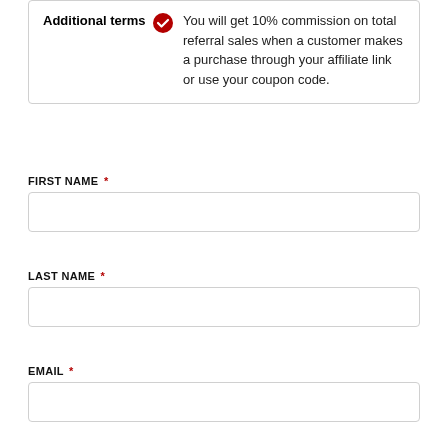Additional terms ✓ You will get 10% commission on total referral sales when a customer makes a purchase through your affiliate link or use your coupon code.
FIRST NAME *
LAST NAME *
EMAIL *